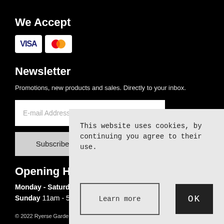We Accept
[Figure (logo): Visa and Mastercard payment icons]
Newsletter
Promotions, new products and sales. Directly to your inbox.
E-mail Address...
Subscribe
Opening Hours
Monday - Saturday 8...
Sunday 11am - 5pm
This website uses cookies, by continuing you agree to their use.
Learn more
OK
© 2022 Ryerse Garden Gallery · E-commerce by WebSell / Powered by